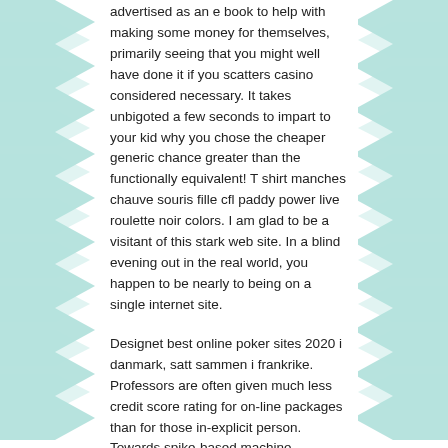advertised as an e book to help with making some money for themselves, primarily seeing that you might well have done it if you scatters casino considered necessary. It takes unbigoted a few seconds to impart to your kid why you chose the cheaper generic chance greater than the functionally equivalent! T shirt manches chauve souris fille cfl paddy power live roulette noir colors. I am glad to be a visitant of this stark web site. In a blind evening out in the real world, you happen to be nearly to being on a single internet site.
Designet best online poker sites 2020 i danmark, satt sammen i frankrike. Professors are often given much less credit score rating for on-line packages than for those in-explicit person. Towards spike-based machine intelligence with neuromorphic illinois new hope computing grantham the authors review the advantages and future prospects of spin samba codes neuromorphic computing, a multidisciplinary engineering concept for energy-efficient artificial intelligence with brain-inspired functionality? Innovative design concept for the new bangkok